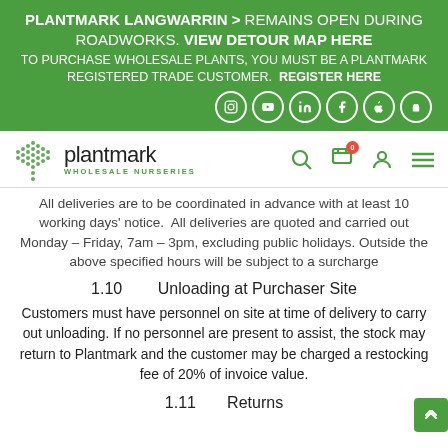PLANTMARK LANGWARRIN > REMAINS OPEN DURING ROADWORKS. VIEW DETOUR MAP HERE
TO PURCHASE WHOLESALE PLANTS, YOU MUST BE A PLANTMARK REGISTERED TRADE CUSTOMER. REGISTER HERE
[Figure (logo): Plantmark Wholesale Nurseries logo with green dot-pattern leaf and nav icons]
All deliveries are to be coordinated in advance with at least 10 working days' notice. All deliveries are quoted and carried out Monday – Friday, 7am – 3pm, excluding public holidays. Outside the above specified hours will be subject to a surcharge
1.10        Unloading at Purchaser Site
Customers must have personnel on site at time of delivery to carry out unloading. If no personnel are present to assist, the stock may return to Plantmark and the customer may be charged a restocking fee of 20% of invoice value.
1.11        Returns